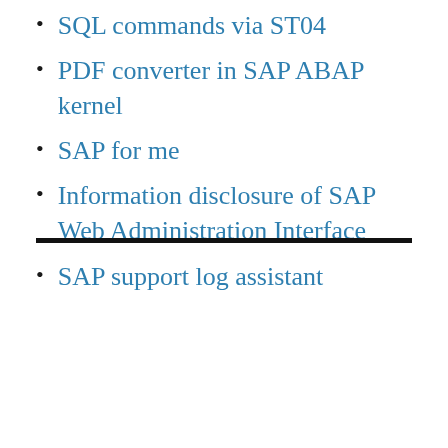SQL commands via ST04
PDF converter in SAP ABAP kernel
SAP for me
Information disclosure of SAP Web Administration Interface
SAP support log assistant